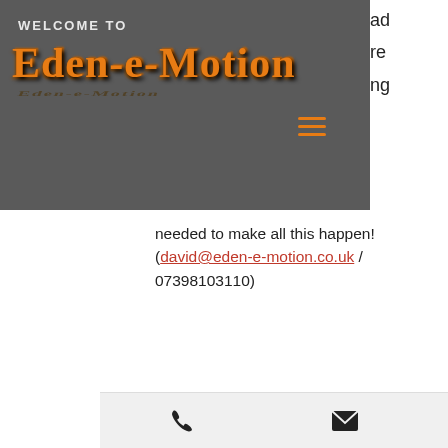WELCOME TO Eden-e-Motion
needed to make all this happen! (david@eden-e-motion.co.uk / 07398103110)
[Figure (photo): Interior shop photo showing bicycles and equipment, with an orange circular up-arrow button overlay]
Phone | Email | Facebook icons